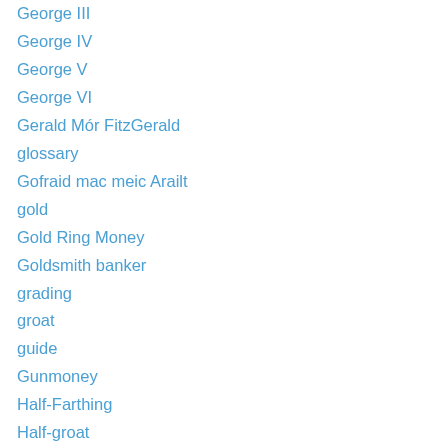George III
George IV
George V
George VI
Gerald Mór FitzGerald
glossary
Gofraid mac meic Arailt
gold
Gold Ring Money
Goldsmith banker
grading
groat
guide
Gunmoney
Half-Farthing
Half-groat
halfcrown
halfpenny
Hammered Coinage
Harrington